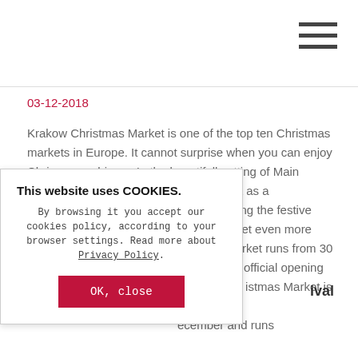03-12-2018
Krakow Christmas Market is one of the top ten Christmas markets in Europe. It cannot surprise when you can enjoy Chrismas ambience In the beautifull setting of Main Market Square with the Mariacki Basilica as a background. We expect some snow during the festive season, making Krakow Christmas Market even more charming for visitors.. The Christmas Market runs from 30 November until 26th December, with the official opening on Saturday [...]istmas Market is the New [...]ecember and runs
[...]ival
This website uses COOKIES. By browsing it you accept our cookies policy, according to your browser settings. Read more about Privacy Policy.
OK, close